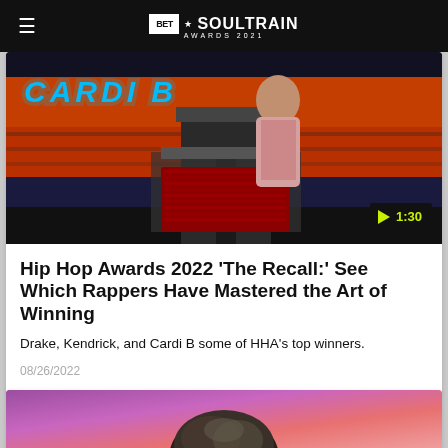BET Soul Train Awards 2021
[Figure (photo): Cardi B at awards show podium with glowing blue CARDI B sign in background, orange/red stage lighting]
Hip Hop Awards 2022 'The Recall:' See Which Rappers Have Mastered the Art of Winning
Drake, Kendrick, and Cardi B some of HHA's top winners.
08/26/2022
[Figure (photo): Person with styled hair at awards show, purple/pink background]